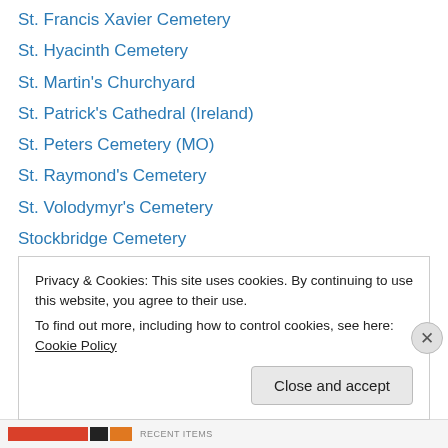St. Francis Xavier Cemetery
St. Hyacinth Cemetery
St. Martin's Churchyard
St. Patrick's Cathedral (Ireland)
St. Peters Cemetery (MO)
St. Raymond's Cemetery
St. Volodymyr's Cemetery
Stockbridge Cemetery
Sunset Memorial Park
Tennessee State Capitol
The Evergreens
The Hermitage
Trinity Church Cemetery
Privacy & Cookies: This site uses cookies. By continuing to use this website, you agree to their use. To find out more, including how to control cookies, see here: Cookie Policy